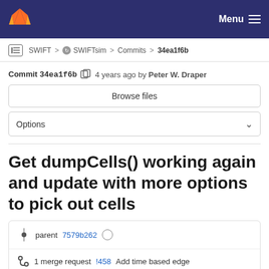GitLab navigation bar with logo and Menu button
SWIFT > SWIFTsim > Commits > 34ea1f6b
Commit 34ea1f6b  4 years ago by Peter W. Draper
Browse files
Options
Get dumpCells() working again and update with more options to pick out cells
parent 7579b262
1 merge request !458 Add time based edge